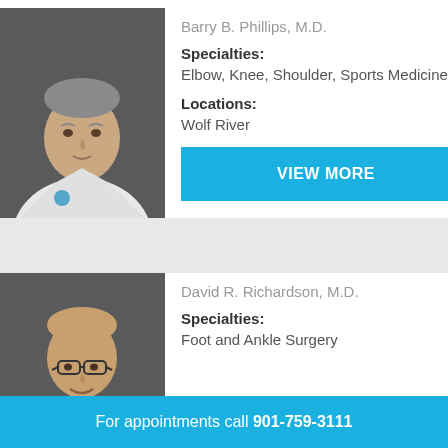[Figure (photo): Professional headshot of Barry B. Phillips, M.D., an older male doctor wearing a white lab coat and blue tie, against a dark gray background]
Barry B. Phillips, M.D.
Specialties:
Elbow, Knee, Shoulder, Sports Medicine
Locations:
Wolf River
VIEW MORE
[Figure (photo): Professional headshot of David R. Richardson, M.D., a bald male doctor wearing glasses and a white coat, smiling, against a dark gray background]
David R. Richardson, M.D.
Specialties:
Foot and Ankle Surgery
For appointments call 901-759-3111